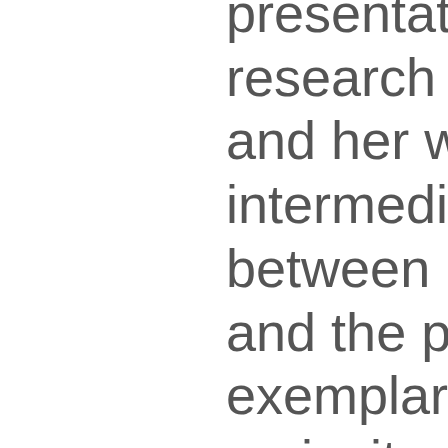presentation of her research findings, and her work as a intermediary between research and the public are exemplary. Her curiosity and thirst for knowledge have provided many new insights for both scholars and the public. She is notable for her big